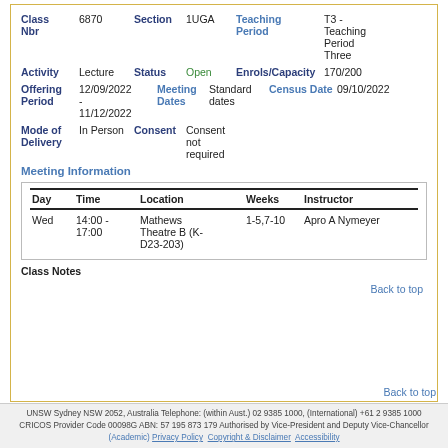| Class Nbr | 6870 | Section | 1UGA | Teaching Period | T3 - Teaching Period Three |
| Activity | Lecture | Status | Open | Enrols/Capacity | 170/200 |
| Offering Period | 12/09/2022 - 11/12/2022 | Meeting Dates | Standard dates | Census Date | 09/10/2022 |
| Mode of Delivery | In Person | Consent | Consent not required |  |  |
Meeting Information
| Day | Time | Location | Weeks | Instructor |
| --- | --- | --- | --- | --- |
| Wed | 14:00 - 17:00 | Mathews Theatre B (K-D23-203) | 1-5,7-10 | Apro A Nymeyer |
Class Notes
Back to top
Back to top
UNSW Sydney NSW 2052, Australia Telephone: (within Aust.) 02 9385 1000, (International) +61 2 9385 1000 CRICOS Provider Code 00098G ABN: 57 195 873 179 Authorised by Vice-President and Deputy Vice-Chancellor (Academic) Privacy Policy Copyright & Disclaimer Accessibility